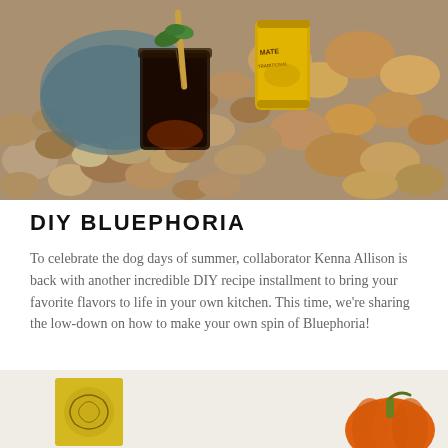[Figure (photo): Overhead photo of a dark iced drink in a mason jar with a bamboo straw and mint leaf, placed among river rocks, next to a yellow Mate tea product can.]
DIY BLUEPHORIA
To celebrate the dog days of summer, collaborator Kenna Allison is back with another incredible DIY recipe installment to bring your favorite flavors to life in your own kitchen. This time, we're sharing the low-down on how to make your own spin of Bluephoria!
[Figure (photo): Partial view of a yellow decorative box and a pumpkin on a light background.]